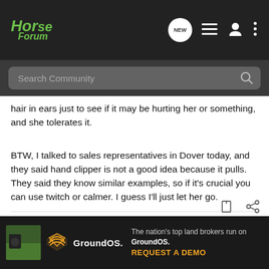Horse Forum — NEW
hair in ears just to see if it may be hurting her or something, and she tolerates it.
BTW, I talked to sales representatives in Dover today, and they said hand clipper is not a good idea because it pulls. They said they know similar examples, so if it's crucial you can use twitch or calmer. I guess I'll just let her go.
"Life isn't about waiting for the storm to pass: it's about learning to dance in the rain..."
[Figure (screenshot): GroundOS advertisement banner at the bottom: 'The nation's top land brokers run on GroundOS. REQUEST A DEMO']